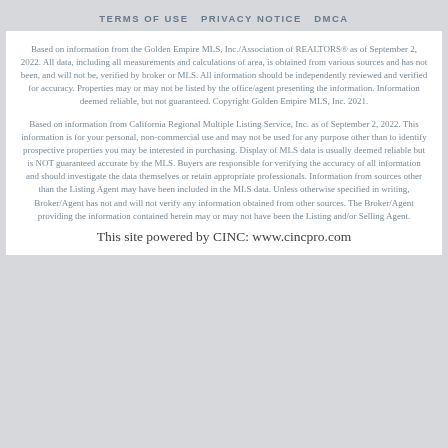TERMS OF USE PRIVACY NOTICE DMCA
Based on information from the Golden Empire MLS, Inc./Association of REALTORS® as of September 2, 2022. All data, including all measurements and calculations of area, is obtained from various sources and has not been, and will not be, verified by broker or MLS. All information should be independently reviewed and verified for accuracy. Properties may or may not be listed by the office/agent presenting the information. Information deemed reliable, but not guaranteed. Copyright Golden Empire MLS, Inc. 2021.
Based on information from California Regional Multiple Listing Service, Inc. as of September 2, 2022. This information is for your personal, non-commercial use and may not be used for any purpose other than to identify prospective properties you may be interested in purchasing. Display of MLS data is usually deemed reliable but is NOT guaranteed accurate by the MLS. Buyers are responsible for verifying the accuracy of all information and should investigate the data themselves or retain appropriate professionals. Information from sources other than the Listing Agent may have been included in the MLS data. Unless otherwise specified in writing, Broker/Agent has not and will not verify any information obtained from other sources. The Broker/Agent providing the information contained herein may or may not have been the Listing and/or Selling Agent.
This site powered by CINC: www.cincpro.com